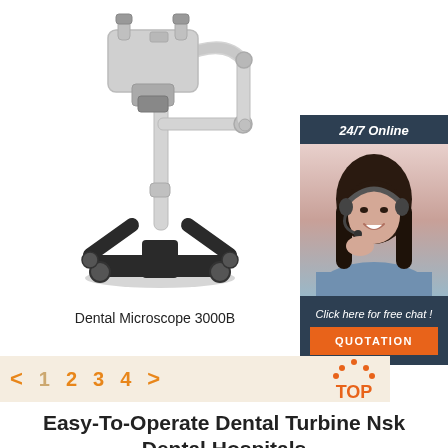[Figure (photo): Dental Microscope 3000B on a wheeled stand with articulated arm, white body, black base with four wheels]
[Figure (photo): 24/7 Online chat panel with a smiling woman wearing a headset. Includes 'Click here for free chat!' text and an orange QUOTATION button.]
Dental Microscope 3000B
[Figure (infographic): Pagination bar with orange navigation arrows and page numbers 1 2 3 4 on a beige background, with a red TOP button on the right]
Easy-To-Operate Dental Turbine Nsk Dental Hospitals